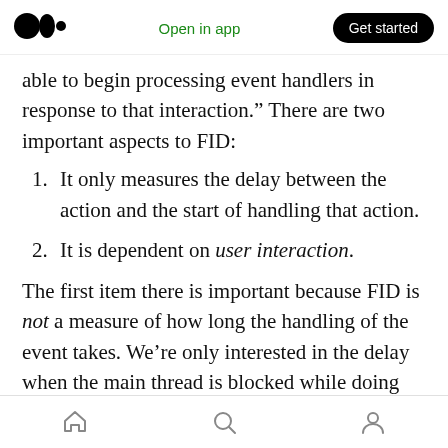Medium logo | Open in app | Get started
able to begin processing event handlers in response to that interaction.” There are two important aspects to FID:
1. It only measures the delay between the action and the start of handling that action.
2. It is dependent on user interaction.
The first item there is important because FID is not a measure of how long the handling of the event takes. We’re only interested in the delay when the main thread is blocked while doing
Home | Search | Profile